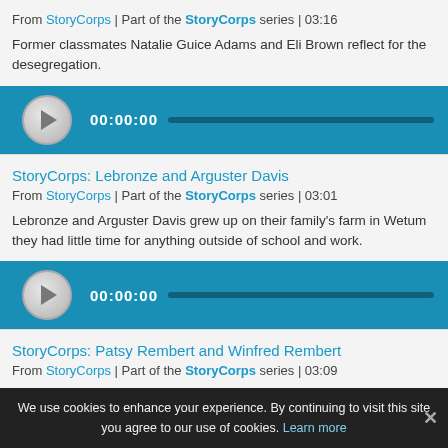From StoryCorps | Part of the StoryCorps series | 03:16
Former classmates Natalie Guice Adams and Eli Brown reflect for the desegregation.
[Figure (other): Audio player bar showing play button, 00:00:00 timestamp, and progress bar]
StoryCorps: Lebronze and Arguster Davis
From StoryCorps | Part of the StoryCorps series | 03:01
Lebronze and Arguster Davis grew up on their family's farm in Wetum they had little time for anything outside of school and work.
[Figure (other): Audio player bar showing play button, 00:00:00 timestamp, and progress bar]
StoryCorps: Patsy Rembert and Winfred Rembert
From StoryCorps | Part of the StoryCorps series | 03:09
73-year-old Winfred Rembert is one of the only people ever known to
We use cookies to enhance your experience. By continuing to visit this site you agree to our use of cookies. Learn more